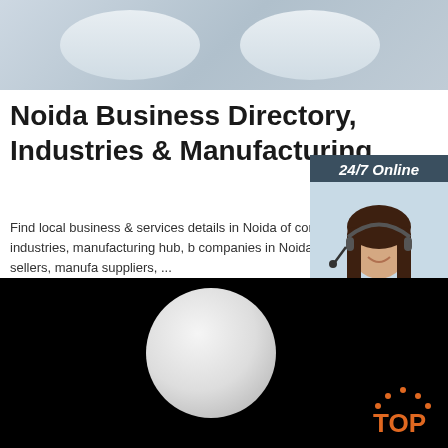[Figure (photo): Top portion showing white rounded bathroom fixtures (sinks/toilets) on grey background]
Noida Business Directory, Industries & Manufacturing
Find local business & services details in Noida of companies. Visit industries, manufacturing hub, b companies in Noida for buyers & sellers, manufacturers suppliers, ...
[Figure (infographic): 24/7 Online chat widget with photo of woman with headset, 'Click here for free chat!' text, and orange QUOTATION button]
[Figure (photo): Black background with white rounded circular object and orange TOP logo in bottom right]